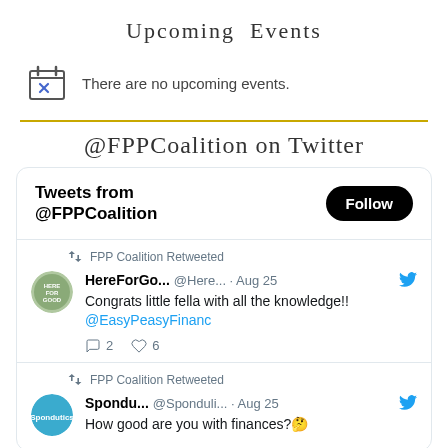Upcoming Events
There are no upcoming events.
@FPPCoalition on Twitter
Tweets from @FPPCoalition
FPP Coalition Retweeted
HereForGo... @Here... · Aug 25 Congrats little fella with all the knowledge!! @EasyPeasyFinanc
FPP Coalition Retweeted
Spondu... @Sponduli... · Aug 25 How good are you with finances?🤔